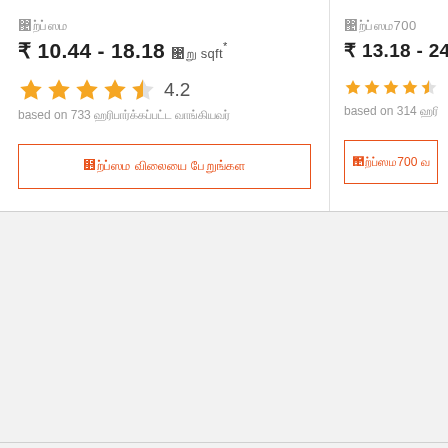ஜிப்சம் (left card product name)
₹ 10.44 - 18.18 ஒரு sqft*
[Figure (other): 4.2 star rating (4 full stars + 1 half star)]
based on 733 சரிபார்க்கப்பட்ட வாங்கியவர்
ஜிப்சம் விலையை பெறுங்கள் (button)
ஜிப்சம்700 (right card product name)
₹ 13.18 - 24.58
[Figure (other): 4+ star rating (right card stars)]
based on 314 சரிபார்க்கப்பட்ட
ஜிப்சம்700 (right button)
ஜிப்சம் விலையை பெறுங்கள் (footer button)
[Figure (other): Phone icon in orange square button]